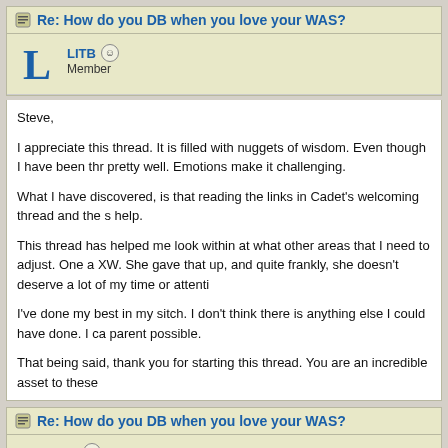Re: How do you DB when you love your WAS?
LITB
Member
Steve,

I appreciate this thread. It is filled with nuggets of wisdom. Even though I have been thr pretty well. Emotions make it challenging.

What I have discovered, is that reading the links in Cadet's welcoming thread and the s help.

This thread has helped me look within at what other areas that I need to adjust. One a XW. She gave that up, and quite frankly, she doesn't deserve a lot of my time or attenti

I've done my best in my sitch. I don't think there is anything else I could have done. I ca parent possible.

That being said, thank you for starting this thread. You are an incredible asset to these
Re: How do you DB when you love your WAS?
StevelW  OP